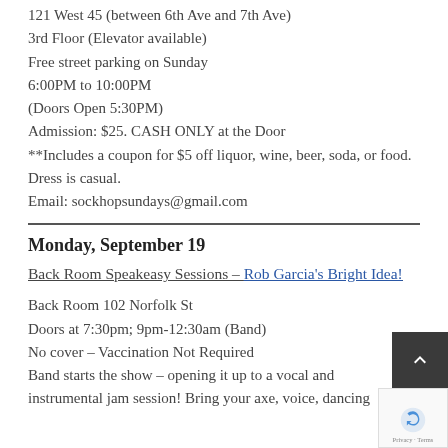121 West 45 (between 6th Ave and 7th Ave)
3rd Floor (Elevator available)
Free street parking on Sunday
6:00PM to 10:00PM
(Doors Open 5:30PM)
Admission: $25. CASH ONLY at the Door
**Includes a coupon for $5 off liquor, wine, beer, soda, or food.
Dress is casual.
Email: sockhopsundays@gmail.com
Monday, September 19
Back Room Speakeasy Sessions – Rob Garcia's Bright Idea!
Back Room 102 Norfolk St
Doors at 7:30pm; 9pm-12:30am (Band)
No cover – Vaccination Not Required
Band starts the show – opening it up to a vocal and instrumental jam session! Bring your axe, voice, dancing